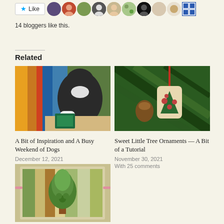[Figure (screenshot): Like button with star icon and row of blogger avatar thumbnails]
14 bloggers like this.
Related
[Figure (photo): A dog looking down at quilting fabric on a table — colorful striped quilt]
[Figure (photo): Christmas tree ornament — fabric triangle with decorative circles, hanging with red ribbon among pine branches]
A Bit of Inspiration and A Busy Weekend of Dogs
December 12, 2021
With 27 comments
Sweet Little Tree Ornaments — A Bit of a Tutorial
November 30, 2021
With 25 comments
[Figure (photo): A quilted wall hanging with a tree design in green and brown fabric]